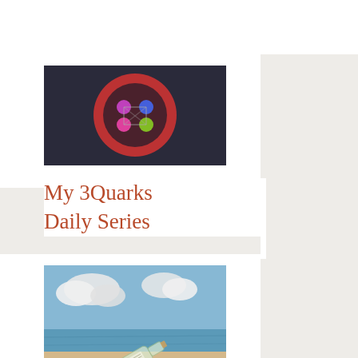[Figure (photo): Photo of a red circular particle/quark diagram with colorful dots on dark background]
My 3Quarks Daily Series
[Figure (photo): Photo of a glass bottle lying on sandy beach with ocean and clouds in background]
My Op/Ed Messages